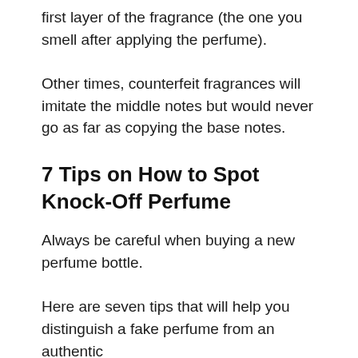first layer of the fragrance (the one you smell after applying the perfume).
Other times, counterfeit fragrances will imitate the middle notes but would never go as far as copying the base notes.
7 Tips on How to Spot Knock-Off Perfume
Always be careful when buying a new perfume bottle.
Here are seven tips that will help you distinguish a fake perfume from an authentic